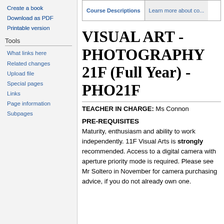Create a book
Download as PDF
Printable version
Tools
What links here
Related changes
Upload file
Special pages
Links
Page information
Subpages
Course Descriptions | Learn more about co...
VISUAL ART - PHOTOGRAPHY 21F (Full Year) - PHO21F
TEACHER IN CHARGE: Ms Connon
PRE-REQUISITES
Maturity, enthusiasm and ability to work independently. 11F Visual Arts is strongly recommended. Access to a digital camera with aperture priority mode is required. Please see Mr Soltero in November for camera purchasing advice, if you do not already own one.